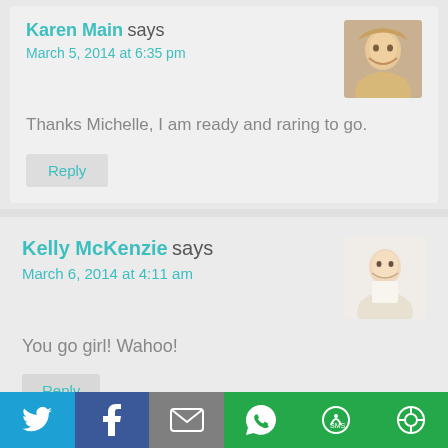Karen Main says
March 5, 2014 at 6:35 pm
Thanks Michelle, I am ready and raring to go.
Reply
Kelly McKenzie says
March 6, 2014 at 4:11 am
You go girl! Wahoo!
Reply